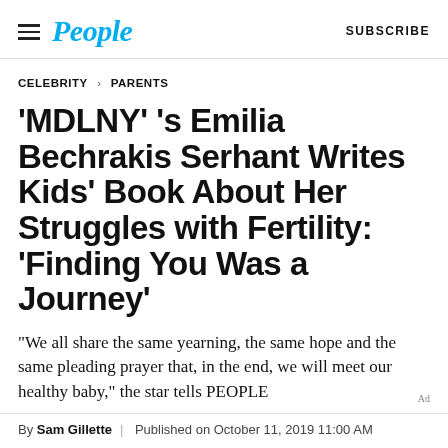People  SUBSCRIBE
CELEBRITY > PARENTS
'MDLNY' 's Emilia Bechrakis Serhant Writes Kids' Book About Her Struggles with Fertility: 'Finding You Was a Journey'
“We all share the same yearning, the same hope and the same pleading prayer that, in the end, we will meet our healthy baby,” the star tells PEOPLE
By Sam Gillette  |  Published on October 11, 2019 11:00 AM